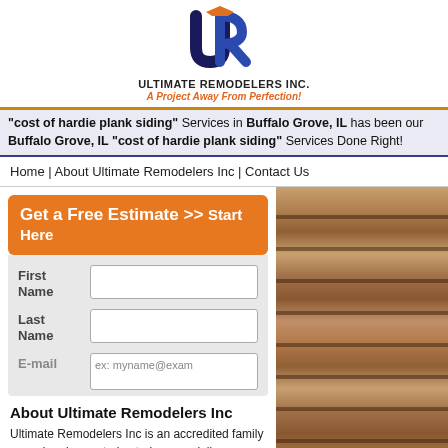[Figure (logo): Ultimate Remodelers Inc logo with stylized UR letters in dark blue and orange, company name and tagline 'A Project Away From Perfection!']
"cost of hardie plank siding" Services in Buffalo Grove, IL has been our Buffalo Grove, IL "cost of hardie plank siding" Services Done Right!
Home | About Ultimate Remodelers Inc | Contact Us
Get a Free Estimate >> Start Here
First Name
Last Name
E-mail	ex: myname@exam
[Figure (photo): Close-up photo of wood plank siding with horizontal brown wooden planks]
About Ultimate Remodelers Inc
Ultimate Remodelers Inc is an accredited family owned and operated exterior remodeling business in the Buffalo Grove, IL area. Ultimate Remodelers Inc has over 15 years experience working in the Buffalo Grove, IL area, our professional staff works quickly to provide quality